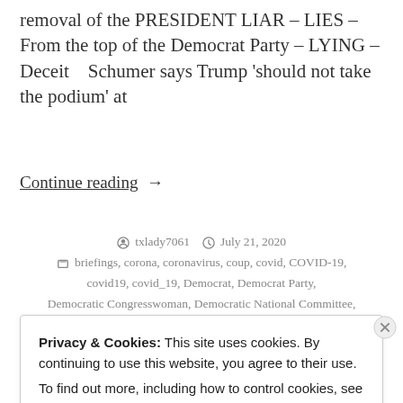removal of the PRESIDENT LIAR – LIES – From the top of the Democrat Party – LYING – Deceit    Schumer says Trump 'should not take the podium' at
Continue reading  →
txlady7061   July 21, 2020   briefings, corona, coronavirus, coup, covid, COVID-19, covid19, covid_19, Democrat, Democrat Party, Democratic Congresswoman, Democratic National Committee,
Privacy & Cookies: This site uses cookies. By continuing to use this website, you agree to their use.
To find out more, including how to control cookies, see here:
Cookie Policy
Close and accept